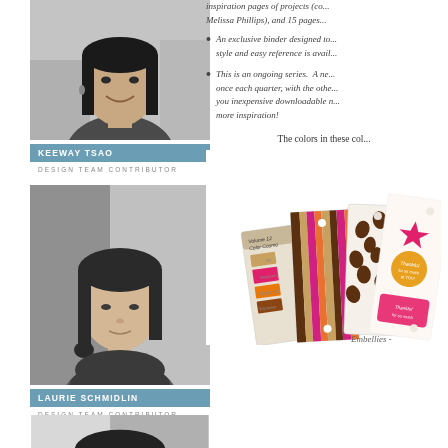[Figure (photo): Black and white photo of Keeway Tsao, a young woman smiling]
KEEWAY TSAO
DESIGN TEAM CONTRIBUTOR
[Figure (photo): Black and white photo of Laurie Schmidlin, a woman with bangs]
LAURIE SCHMIDLIN
DESIGN TEAM CONTRIBUTOR
[Figure (photo): Black and white photo of a third woman with dark hair]
inspiration pages of projects (co-... Melissa Phillips), and 15 pages...
An exclusive binder designed to... style and easy reference is avail...
This is an ongoing series. A new... once each quarter, with the othe... you inexpensive downloadable n... more inspiration!
The colors in these col...
[Figure (photo): Color cards/booklets showing volume 12 color cosmo with color swatches, striped patterns in brown/pink/orange, and floral stickers]